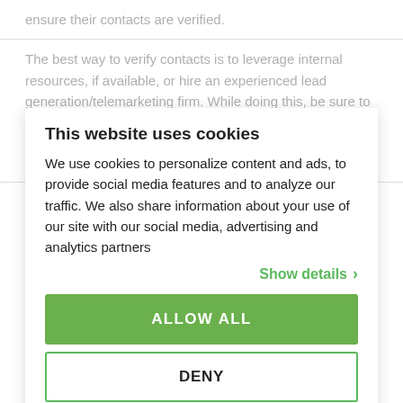ensure their contacts are verified.
The best way to verify contacts is to leverage internal resources, if available, or hire an experienced lead generation/telemarketing firm. While doing this, be sure to take full advantage of the time spent and think beyond your current campaign. Be strategic in these efforts and use your time wisely to also verify other important pieces
This website uses cookies
We use cookies to personalize content and ads, to provide social media features and to analyze our traffic. We also share information about your use of our site with our social media, advertising and analytics partners
Show details ›
of information that might prove vital to the success of a campaign or the future relationship with a prospect. As you begin, develop a method to catalog your database to easily sort and segment for key characteristics. This will help you quickly determine
ALLOW ALL
DENY
current customers from prospects, as well as identify other key factors that could affect your marketing message
Powered by Cookiebot by Usercentrics
Factors could include identifying contacts by their role or industry vertical, knowing which customers only subscribe